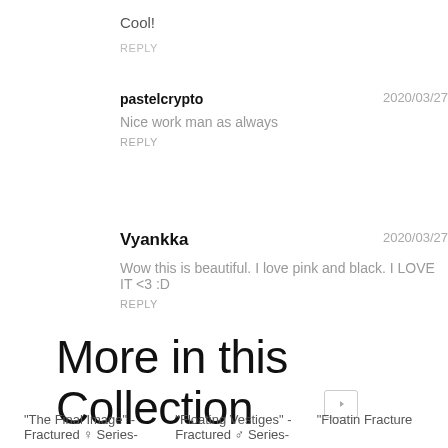Cool!
REPLY
pastelcrypto
2020/03/27
Nice work man as always
REPLY
Vyankka
2020/03/27
Wow this is beautiful. I love pink and black. I LOVE IT <3 :D
REPLY
More in this Collection
"The Final Image" - Fractured ♀ Series-
"Floating Vestiges" - Fractured ♂ Series-
"Floating Fracture